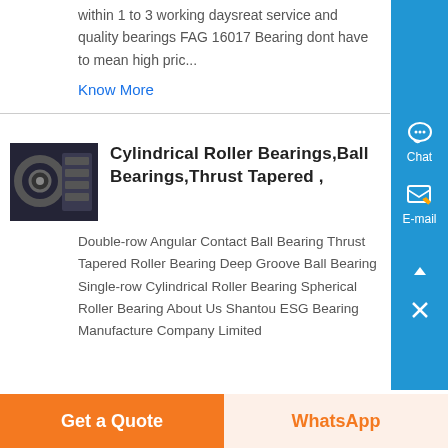within 1 to 3 working daysreat service and quality bearings FAG 16017 Bearing dont have to mean high pric...
Know More
[Figure (photo): Photo of bearings/industrial machinery, dark toned image]
Cylindrical Roller Bearings,Ball Bearings,Thrust Tapered ,
Double-row Angular Contact Ball Bearing Thrust Tapered Roller Bearing Deep Groove Ball Bearing Single-row Cylindrical Roller Bearing Spherical Roller Bearing About Us Shantou ESG Bearing Manufacture Company Limited